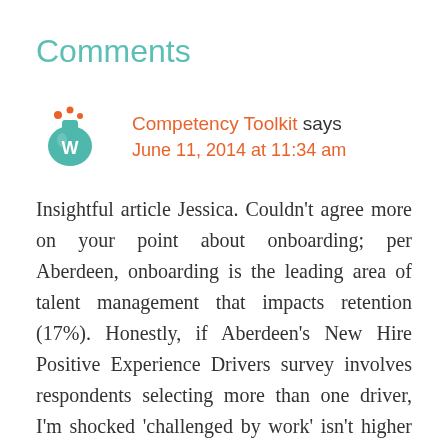Comments
Competency Toolkit says
June 11, 2014 at 11:34 am
Insightful article Jessica. Couldn’t agree more on your point about onboarding; per Aberdeen, onboarding is the leading area of talent management that impacts retention (17%). Honestly, if Aberdeen’s New Hire Positive Experience Drivers survey involves respondents selecting more than one driver, I’m shocked ‘challenged by work’ isn’t higher than 38%. It’s critical that organizations and leaders clearly and accurately define the tasks and expectations for a